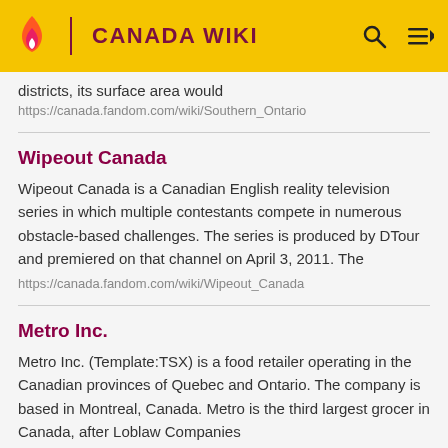CANADA WIKI
districts, its surface area would
https://canada.fandom.com/wiki/Southern_Ontario
Wipeout Canada
Wipeout Canada is a Canadian English reality television series in which multiple contestants compete in numerous obstacle-based challenges. The series is produced by DTour and premiered on that channel on April 3, 2011. The
https://canada.fandom.com/wiki/Wipeout_Canada
Metro Inc.
Metro Inc. (Template:TSX) is a food retailer operating in the Canadian provinces of Quebec and Ontario. The company is based in Montreal, Canada. Metro is the third largest grocer in Canada, after Loblaw Companies
https://canada.fandom.com/wiki/Metro_Inc.